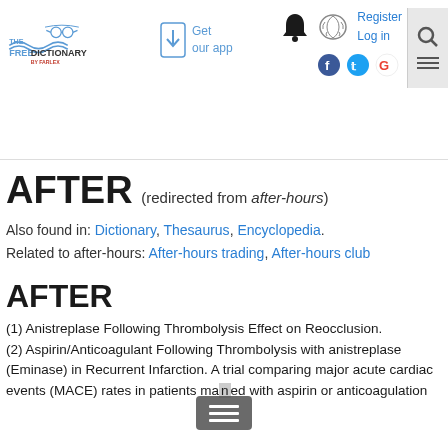The Free Dictionary by Farlex — Get our app — Register — Log in
AFTER (redirected from after-hours)
Also found in: Dictionary, Thesaurus, Encyclopedia.
Related to after-hours: After-hours trading, After-hours club
AFTER
(1) Anistreplase Following Thrombolysis Effect on Reocclusion.
(2) Aspirin/Anticoagulant Following Thrombolysis with anistreplase (Eminase) in Recurrent Infarction. A trial comparing major acute cardiac events (MACE) rates in patients managed with aspirin or anticoagulation